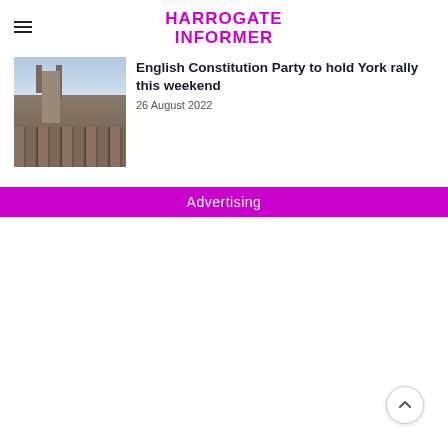HARROGATE INFORMER
[Figure (photo): Aerial photo of York city with cathedral towers and rooftops]
English Constitution Party to hold York rally this weekend
26 August 2022
Advertising